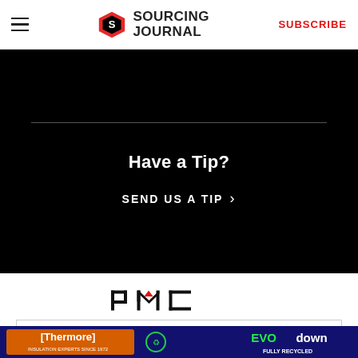Sourcing Journal — SUBSCRIBE
[Figure (infographic): Black background section with 'Have a Tip?' heading and 'SEND US A TIP >' link]
[Figure (logo): PMC logo in black and red]
OUR SITES
[Figure (photo): Thermore EVO down insulation advertisement banner — Thermore Insulation Experts Since 1972, EVO down Fully Recycled]